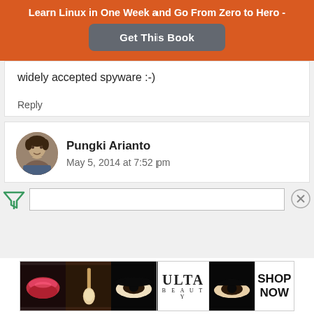Learn Linux in One Week and Go From Zero to Hero -
Get This Book
widely accepted spyware :-)
Reply
Pungki Arianto
May 5, 2014 at 7:52 pm
[Figure (photo): Ulta beauty advertisement banner showing makeup product images and the Ulta Beauty logo with a SHOP NOW call to action]